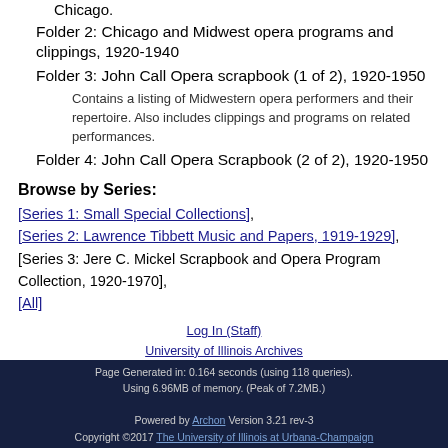Chicago.
Folder 2: Chicago and Midwest opera programs and clippings, 1920-1940
Folder 3: John Call Opera scrapbook (1 of 2), 1920-1950
Contains a listing of Midwestern opera performers and their repertoire. Also includes clippings and programs on related performances.
Folder 4: John Call Opera Scrapbook (2 of 2), 1920-1950
Browse by Series:
[Series 1: Small Special Collections],
[Series 2: Lawrence Tibbett Music and Papers, 1919-1929],
[Series 3: Jere C. Mickel Scrapbook and Opera Program Collection, 1920-1970],
[All]
Log In (Staff)
University of Illinois Archives
Contact Us: Email Form
Page Generated in: 0.164 seconds (using 118 queries).
Using 6.96MB of memory. (Peak of 7.2MB.)
Powered by Archon Version 3.21 rev-3
Copyright ©2017 The University of Illinois at Urbana-Champaign